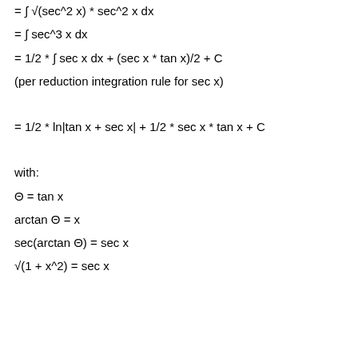(per reduction integration rule for sec x)
with: